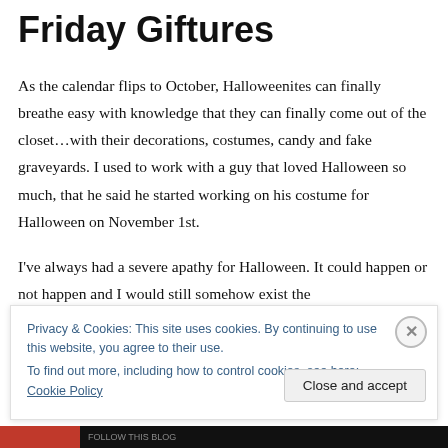Friday Giftures
As the calendar flips to October, Halloweenites can finally breathe easy with knowledge that they can finally come out of the closet…with their decorations, costumes, candy and fake graveyards. I used to work with a guy that loved Halloween so much, that he said he started working on his costume for Halloween on November 1st.
I've always had a severe apathy for Halloween. It could happen or not happen and I would still somehow exist the
Privacy & Cookies: This site uses cookies. By continuing to use this website, you agree to their use.
To find out more, including how to control cookies, see here: Cookie Policy
Close and accept